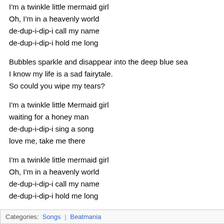I'm a twinkle little mermaid girl
Oh, I'm in a heavenly world
de-dup-i-dip-i call my name
de-dup-i-dip-i hold me long
Bubbles sparkle and disappear into the deep blue sea
I know my life is a sad fairytale.
So could you wipe my tears?
I'm a twinkle little Mermaid girl
waiting for a honey man
de-dup-i-dip-i sing a song
love me, take me there
I'm a twinkle little mermaid girl
Oh, I'm in a heavenly world
de-dup-i-dip-i call my name
de-dup-i-dip-i hold me long
Categories: Songs | Beatmania